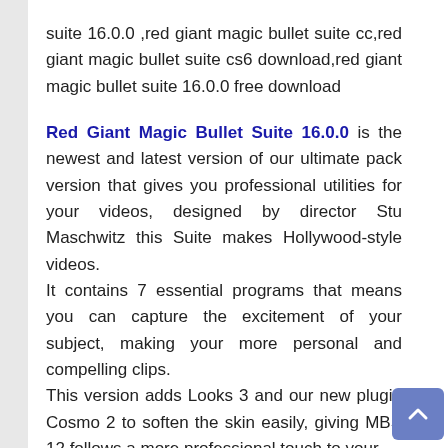suite 16.0.0 ,red giant magic bullet suite cc,red giant magic bullet suite cs6 download,red giant magic bullet suite 16.0.0 free download
Red Giant Magic Bullet Suite 16.0.0 is the newest and latest version of our ultimate pack version that gives you professional utilities for your videos, designed by director Stu Maschwitz this Suite makes Hollywood-style videos.
It contains 7 essential programs that means you can capture the excitement of your subject, making your more personal and compelling clips.
This version adds Looks 3 and our new plugin Cosmo 2 to soften the skin easily, giving MBS 12 follows a more professional touch to your